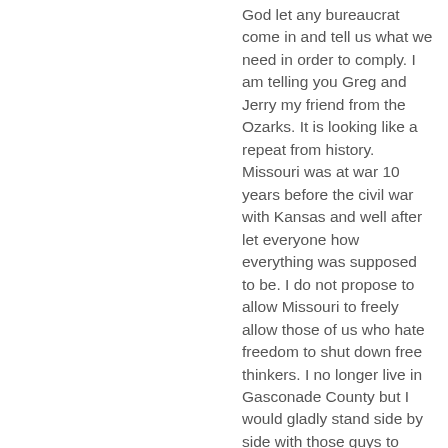God let any bureaucrat come in and tell us what we need in order to comply. I am telling you Greg and Jerry my friend from the Ozarks. It is looking like a repeat from history. Missouri was at war 10 years before the civil war with Kansas and well after let everyone how everything was supposed to be. I do not propose to allow Missouri to freely allow those of us who hate freedom to shut down free thinkers. I no longer live in Gasconade County but I would gladly stand side by side with those guys to protect our freedom against the Progressives that wish to rob us of our freedom.